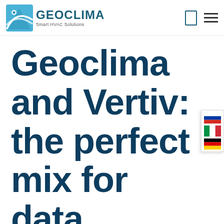[Figure (logo): Geoclima Smart HVAC Solutions logo with blue diamond/swoosh icon and company name]
Geoclima and Vertiv: the perfect mix for data